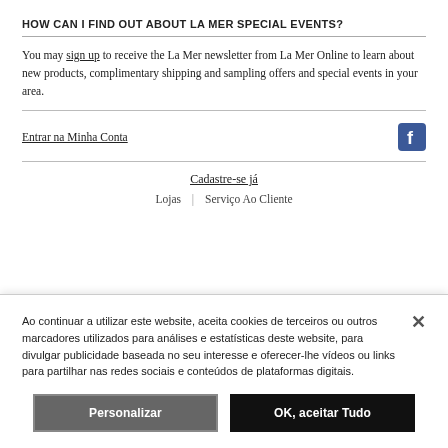HOW CAN I FIND OUT ABOUT LA MER SPECIAL EVENTS?
You may sign up to receive the La Mer newsletter from La Mer Online to learn about new products, complimentary shipping and sampling offers and special events in your area.
Entrar na Minha Conta
Cadastre-se já
Lojas | Serviço Ao Cliente
Ao continuar a utilizar este website, aceita cookies de terceiros ou outros marcadores utilizados para análises e estatísticas deste website, para divulgar publicidade baseada no seu interesse e oferecer-lhe vídeos ou links para partilhar nas redes sociais e conteúdos de plataformas digitais.
Personalizar
OK, aceitar Tudo